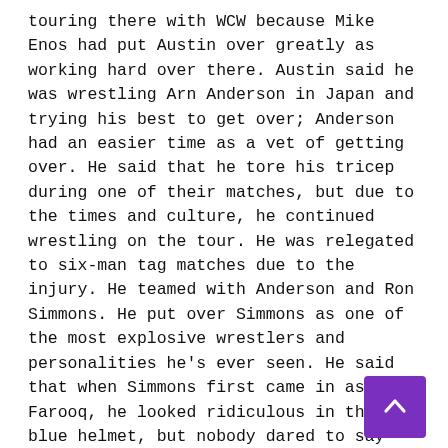touring there with WCW because Mike Enos had put Austin over greatly as working hard over there. Austin said he was wrestling Arn Anderson in Japan and trying his best to get over; Anderson had an easier time as a vet of getting over. He said that he tore his tricep during one of their matches, but due to the times and culture, he continued wrestling on the tour. He was relegated to six-man tag matches due to the injury. He teamed with Anderson and Ron Simmons. He put over Simmons as one of the most explosive wrestlers and personalities he's ever seen. He said that when Simmons first came in as Farooq, he looked ridiculous in the blue helmet, but nobody dared to say that to Simmons because they were scared of him.
Austin was asked about his hatred for memorizing lines and about doing a movie with The Rock. He said that he didn't like having to memorize at all. He put over The Rock for his ambition and charisma. He said that he wasn't really surprised by his movie success due to those traits, and glad he's blazing that trail. The conversation during to